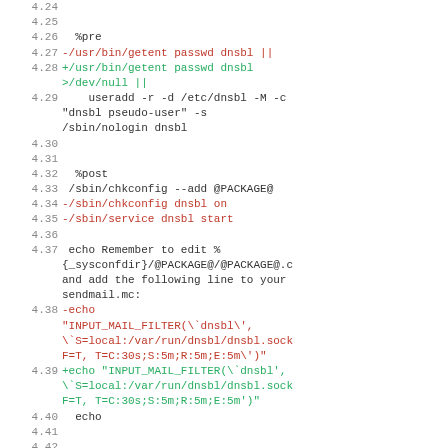Code diff snippet showing RPM spec file lines 4.24–4.42 with pre/post scriptlets for dnsbl package
[Figure (other): Monospace code diff with line numbers 4.24–4.42, showing %pre and %post scriptlets. Red lines are deletions, green lines are additions, black lines are unchanged code.]